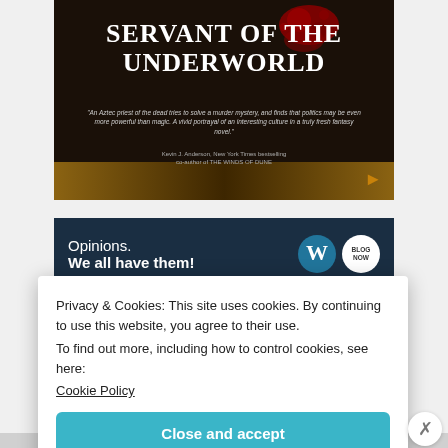[Figure (illustration): Book cover for 'Servant of the Underworld' with white title text on dark background, red blood splatter graphic, italic quote from Kevin J. Anderson, and dark brown bottom section.]
[Figure (screenshot): Advertisement banner with dark navy background reading 'Opinions. We all have them!' with WordPress logo and blog logo on right side.]
Privacy & Cookies: This site uses cookies. By continuing to use this website, you agree to their use. To find out more, including how to control cookies, see here: Cookie Policy
Close and accept